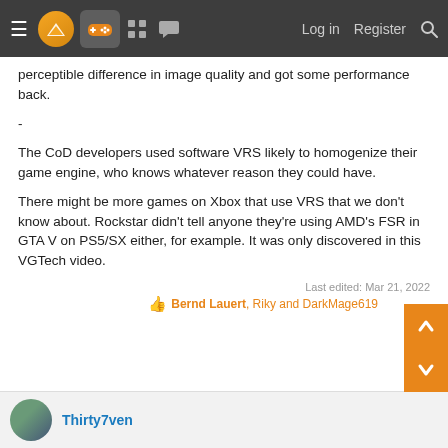≡ [Logo] [Gamepad icon] [Grid icon] [Chat icon]   Log in   Register  🔍
perceptible difference in image quality and got some performance back.
-
The CoD developers used software VRS likely to homogenize their game engine, who knows whatever reason they could have.
There might be more games on Xbox that use VRS that we don't know about. Rockstar didn't tell anyone they're using AMD's FSR in GTA V on PS5/SX either, for example. It was only discovered in this VGTech video.
Last edited: Mar 21, 2022
👍 Bernd Lauert, Riky and DarkMage619
Thirty7ven